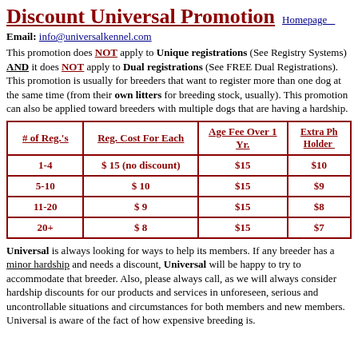Discount Universal Promotion
Email: info@universalkennel.com
This promotion does NOT apply to Unique registrations (See Registry Systems) AND it does NOT apply to Dual registrations (See FREE Dual Registrations). This promotion is usually for breeders that want to register more than one dog at the same time (from their own litters for breeding stock, usually). This promotion can also be applied toward breeders with multiple dogs that are having a hardship.
| # of Reg.'s | Reg. Cost For Each | Age Fee Over 1 Yr. | Extra Ph... Holder ... |
| --- | --- | --- | --- |
| 1-4 | $ 15 (no discount) | $15 | $10... |
| 5-10 | $ 10 | $15 | $9... |
| 11-20 | $ 9 | $15 | $8... |
| 20+ | $ 8 | $15 | $7... |
Universal is always looking for ways to help its members. If any breeder has a minor hardship and needs a discount, Universal will be happy to try to accommodate that breeder. Also, please always call, as we will always consider hardship discounts for our products and services in unforeseen, serious and uncontrollable situations and circumstances for both members and new members. Universal is aware of the fact of how expensive breeding is.